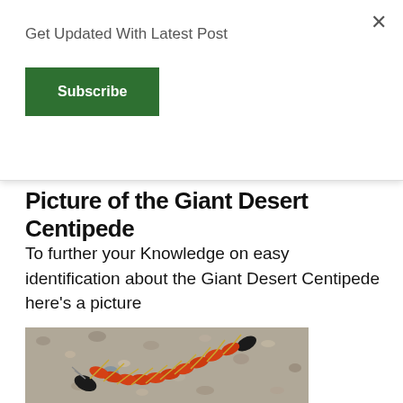Get Updated With Latest Post
Subscribe
×
Picture of the Giant Desert Centipede
To further your Knowledge on easy identification about the Giant Desert Centipede here's a picture
[Figure (photo): Photograph of a Giant Desert Centipede (Scolopendra heros) crawling on gravelly desert ground. The centipede has a segmented orange-red body with a black head and black tail segment, and yellowish legs.]